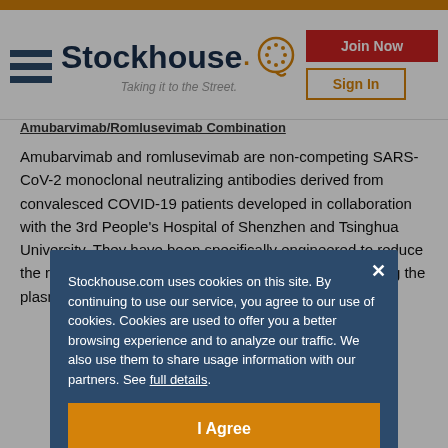Stockhouse - Taking it to the Street.
Amubarvimab/Romlusevimab Combination
Amubarvimab and romlusevimab are non-competing SARS-CoV-2 monoclonal neutralizing antibodies derived from convalesced COVID-19 patients developed in collaboration with the 3rd People's Hospital of Shenzhen and Tsinghua University. They have been specifically engineered to reduce the risk of antibody-dependent enhancement and prolong the plasma half-lives for potentially more du...
Ba... Pl... an... ly si... de... (9...
Stockhouse.com uses cookies on this site. By continuing to use our service, you agree to our use of cookies. Cookies are used to offer you a better browsing experience and to analyze our traffic. We also use them to share usage information with our partners. See full details.